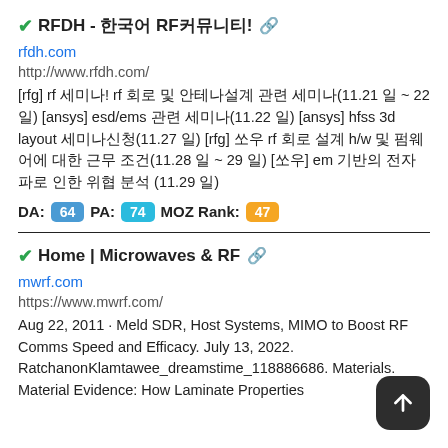✔RFDH - 한국어 RF커뮤니티!
rfdh.com
http://www.rfdh.com/
[rfg] rf 세미나! rf 회로 및 안테나설계 관련 세미나(11.21 일 ~ 22 일) [ansys] esd/ems 관련 세미나(11.22 일) [ansys] hfss 3d layout 세미나신청(11.27 일) [rfg] 쏘우 rf 회로 설계 h/w 및 펌웨어에 대한 근무 조건(11.28 일 ~ 29 일) [쏘우] em 기반의 전자파로 인한 위협 분석 (11.29 일)
DA: 64  PA: 74  MOZ Rank: 47
✔Home | Microwaves & RF
mwrf.com
https://www.mwrf.com/
Aug 22, 2011 · Meld SDR, Host Systems, MIMO to Boost RF Comms Speed and Efficacy. July 13, 2022. RatchanonKlamtawee_dreamstime_118886686. Materials. Material Evidence: How Laminate Properties